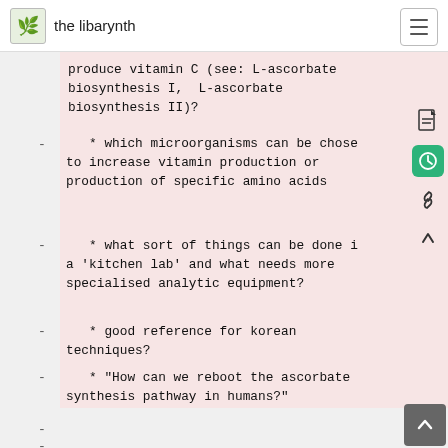the libarynth
produce vitamin C (see: L-ascorbate biosynthesis I,  L-ascorbate biosynthesis II)?
* which microorganisms can be chosen to increase vitamin production or production of specific amino acids
* what sort of things can be done in a 'kitchen lab' and what needs more specialised analytic equipment?
* good reference for korean techniques?
* "How can we reboot the ascorbate synthesis pathway in humans?"